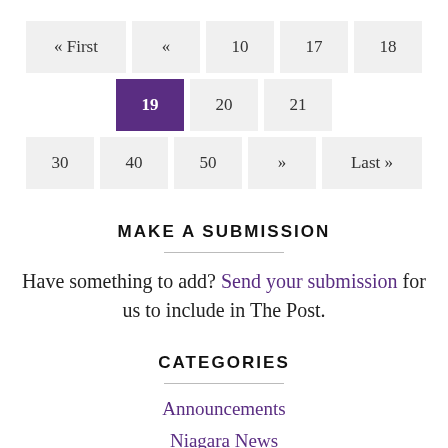« First  «  10  17  18  19  20  21  30  40  50  »  Last »
MAKE A SUBMISSION
Have something to add? Send your submission for us to include in The Post.
CATEGORIES
Announcements
Niagara News
Other